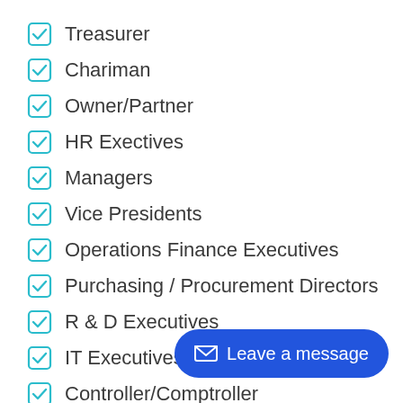Treasurer
Chariman
Owner/Partner
HR Exectives
Managers
Vice Presidents
Operations Finance Executives
Purchasing / Procurement Directors
R & D Executives
IT Executives
Controller/Comptroller